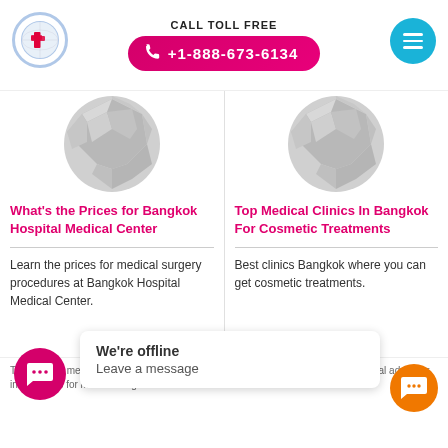Related Articles
CALL TOLL FREE +1-888-673-6134
[Figure (illustration): Globe watermark illustration, left card]
What's the Prices for Bangkok Hospital Medical Center
Learn the prices for medical surgery procedures at Bangkok Hospital Medical Center.
[Figure (illustration): Globe watermark illustration, right card]
Top Medical Clinics In Bangkok For Cosmetic Treatments
Best clinics Bangkok where you can get cosmetic treatments.
We're offline
Leave a message
This page is meant for informational purposes only and is not intended to be medical advice or instructions for medical diagnosis or treatment.